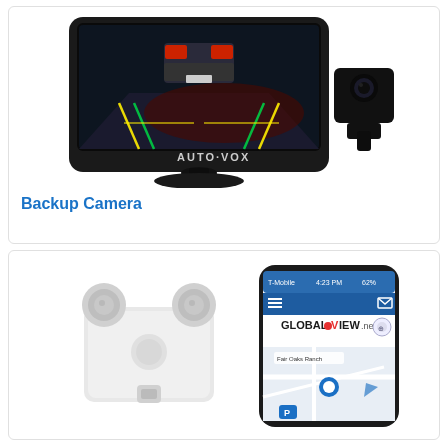[Figure (photo): AUTO-VOX backup camera monitor showing rear-view of a car at night with parking guide lines, and a small black backup camera unit beside the monitor]
Backup Camera
[Figure (photo): A white GPS tracking device with suction cups alongside a smartphone displaying the GLOBAL-VIEW.net GPS tracking app with a map interface]